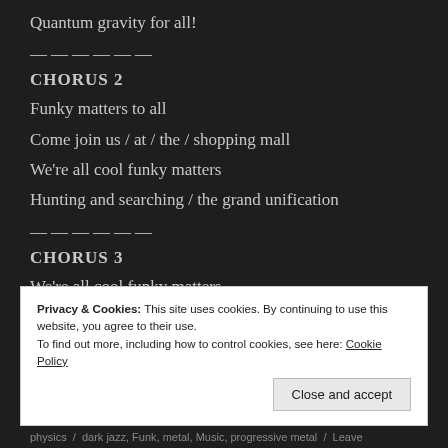Quantum gravity for all!
——————
CHORUS 2
Funky matters to all
Come join us / at / the / shopping mall
We're all cool funky matters
Hunting and searching / the grand unification
——————
CHORUS 3
We're all cool funky matters
Particle or wave, (it) doesn't really matter
Privacy & Cookies: This site uses cookies. By continuing to use this website, you agree to their use.
To find out more, including how to control cookies, see here: Cookie Policy
physics / dark jazz, Funk, metal, Music, progressive metal / Leave